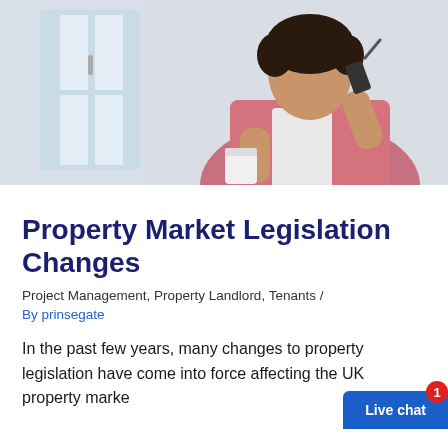[Figure (photo): Woman in pink blazer holding a phone and a coffee cup, standing near a bright window with white brick wall background]
Property Market Legislation Changes
Project Management, Property Landlord, Tenants / By prinsegate
In the past few years, many changes to property legislation have come into force affecting the UK property marke